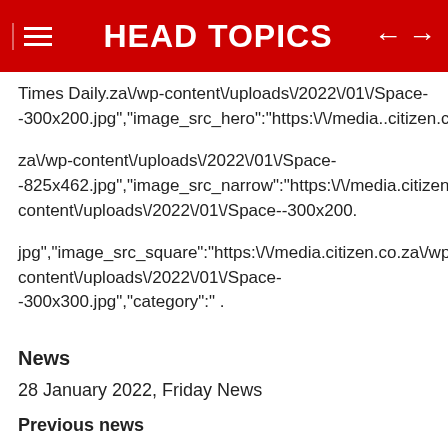HEAD TOPICS
Times Daily.za\/wp-content\/uploads\/2022\/01\/Space--300x200.jpg","image_src_hero":"https:\/\/media..citizen.co.
za\/wp-content\/uploads\/2022\/01\/Space--825x462.jpg","image_src_narrow":"https:\/\/media.citizen.co.za\/wp-content\/uploads\/2022\/01\/Space--300x200.
jpg","image_src_square":"https:\/\/media.citizen.co.za\/wp-content\/uploads\/2022\/01\/Space--300x300.jpg","category":" .
News
28 January 2022, Friday News
Previous news
North Korea confirms two missile tests conducted this